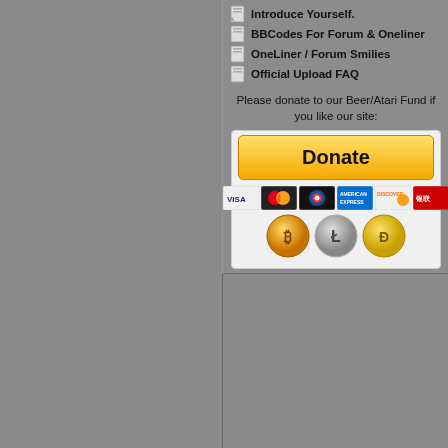Introduce Yourself.
BBCodes For Forum & Oneliner
OneLiner / Forum Smilies
Official Upload FAQ
Please donate to our Beer/Atari Fund if you like our site:
[Figure (screenshot): PayPal donate button with credit card logos (Visa, Mastercard, Maestro, Amex, Discover, UnionPay) and cryptocurrency coin icons (Bitcoin, Litecoin, Dogecoin)]